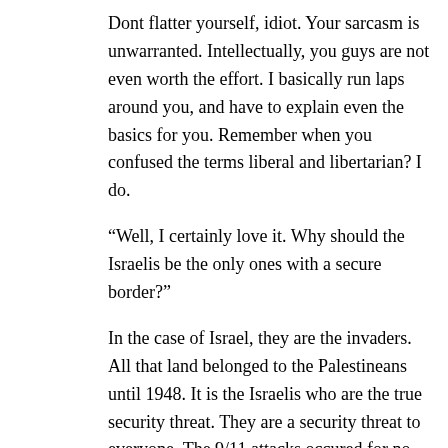Dont flatter yourself, idiot. Your sarcasm is unwarranted. Intellectually, you guys are not even worth the effort. I basically run laps around you, and have to explain even the basics for you. Remember when you confused the terms liberal and libertarian? I do.
“Well, I certainly love it. Why should the Israelis be the only ones with a secure border?”
In the case of Israel, they are the invaders. All that land belonged to the Palestineans until 1948. It is the Israelis who are the true security threat. They are a security threat to everyone. The 9/11 attacks occured for no other reason than the United States aided Israel against the Palestineans.
In the case of the U.S, your statement is ridiculous. The vast majority of immigrants are non-violent workers who just want a better life for themselves. The criminals are the minority. There is no “security” threat at all. If that is the concern, then why simply not run criminal background checks on immigrants,